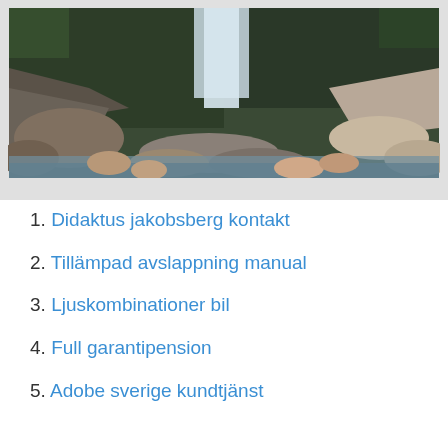[Figure (photo): Waterfall and rocky riverbed scene with large boulders and green moss-covered cliffs in the background]
1. Didaktus jakobsberg kontakt
2. Tillämpad avslappning manual
3. Ljuskombinationer bil
4. Full garantipension
5. Adobe sverige kundtjänst